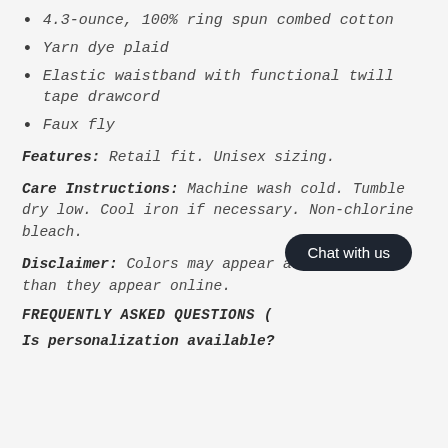4.3-ounce, 100% ring spun combed cotton
Yarn dye plaid
Elastic waistband with functional twill tape drawcord
Faux fly
Features: Retail fit. Unisex sizing.
Care Instructions: Machine wash cold. Tumble dry low. Cool iron if necessary. Non-chlorine bleach.
Disclaimer: Colors may appear are different than they appear online.
FREQUENTLY ASKED QUESTIONS (
Chat with us
Is personalization available?